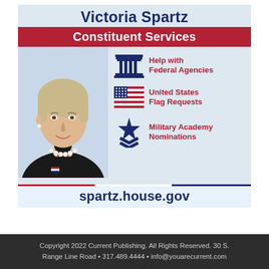[Figure (infographic): Victoria Spartz Constituent Services advertisement showing photo of the congresswoman with a pearl necklace and dark jacket, alongside icons for three constituent services: Help with Federal Agencies (column/pillar icon), United States Flag Requests (US flag icon), and Military Academy Nominations (star and chevron icon), with website spartz.house.gov at the bottom.]
Copyright 2022 Current Publishing. All Rights Reserved. 30 S. Range Line Road • 317.489.4444 • info@youarecurrent.com